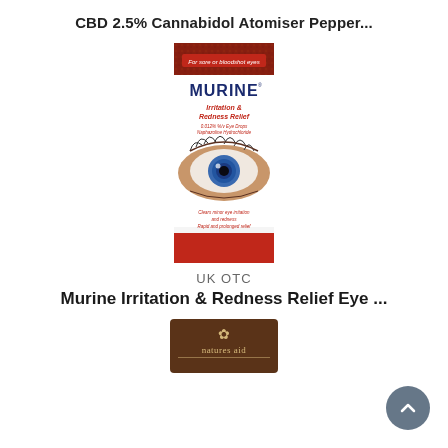CBD 2.5% Cannabidol Atomiser Pepper...
[Figure (photo): Murine Irritation & Redness Relief Eye Drops product box. Box shows a close-up of a blue eye, and text: 'For sore or bloodshot eyes', 'MURINE', 'Irritation & Redness Relief', '0.012% %/v Eye Drops Naphazoline Hydrochloride', 'Clears minor eye irritation and redness', 'Rapid and prolonged relief']
UK OTC
Murine Irritation & Redness Relief Eye ...
[Figure (photo): Natures Aid logo/product box, partially visible at bottom of page]